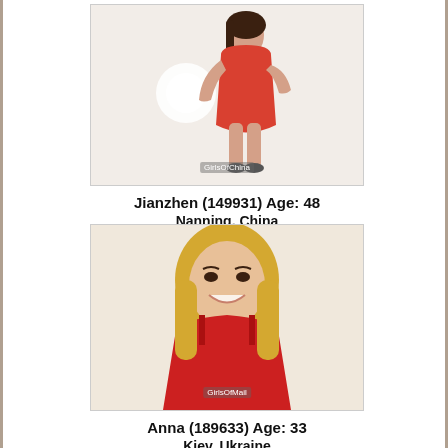[Figure (photo): Young woman in red dress posing]
Jianzhen (149931) Age: 48
Nanning, China
[Figure (photo): Blonde woman in red top smiling]
Anna (189633) Age: 33
Kiev, Ukraine